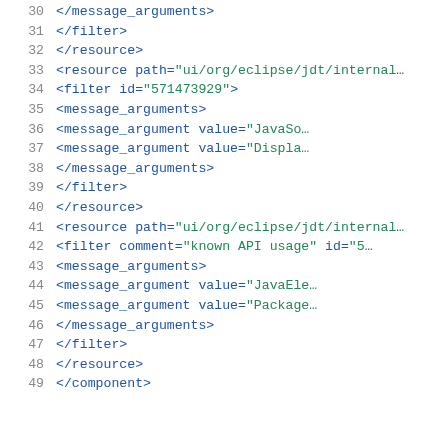[Figure (screenshot): XML code snippet showing lines 30-49 of an Eclipse JDT component XML configuration file with resource, filter, and message_arguments elements. Line numbers in gray on the left, XML tags in dark blue, attribute values in green.]